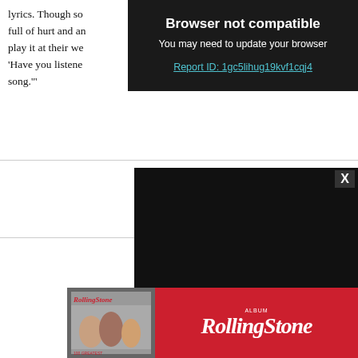lyrics. Though so full of hurt and an play it at their we 'Have you listene song.'"
[Figure (screenshot): Browser not compatible overlay with dark background. Title: 'Browser not compatible'. Subtitle: 'You may need to update your browser'. Link: 'Report ID: 1gc5lihug19kvf1cqj4']
[Figure (screenshot): Dark video player modal panel with close button X in upper right corner]
[Figure (other): Red square badge with white bold number '61' and dark vinyl/record circle partially visible]
[Figure (screenshot): Rolling Stone magazine advertisement banner in red with magazine cover image on left and RollingStone logo text on right]